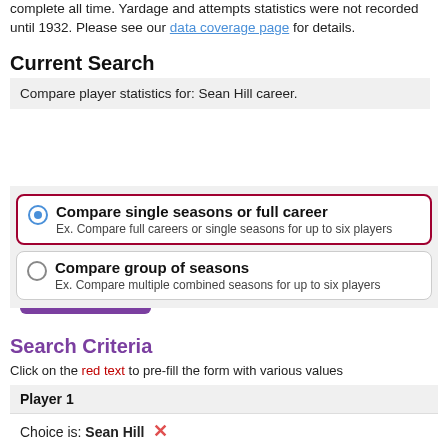complete all time. Yardage and attempts statistics were not recorded until 1932. Please see our data coverage page for details.
Current Search
Compare player statistics for: Sean Hill career.
[Figure (other): Purple 'Share Results' button with arrow icon]
Compare single seasons or full career
Ex. Compare full careers or single seasons for up to six players
Compare group of seasons
Ex. Compare multiple combined seasons for up to six players
Search Criteria
Click on the red text to pre-fill the form with various values
| Player 1 |
| --- |
| Choice is: Sean Hill ✕ |